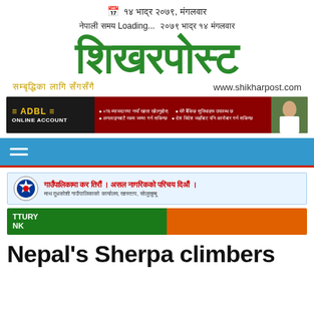📅 १४ भाद्र २०७९, मंगलवार
नेपाली समय Loading... २०७९ भाद्र १४ मंगलवार
[Figure (logo): Shikhar Post newspaper logo in green Devanagari script with tagline and website URL www.shikharpost.com]
[Figure (infographic): ADBL Online Account advertisement banner with dark and maroon background, Nepali text, and woman image]
[Figure (infographic): Blue navigation bar with hamburger menu icon and red bottom border]
[Figure (infographic): Government of Nepal municipality banner - tax payment advisory in red Nepali text on light blue background]
[Figure (infographic): Century Bank advertisement banner with green and orange sections]
Nepal's Sherpa climbers